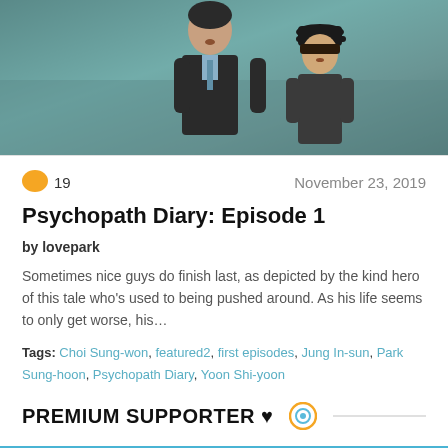[Figure (photo): Two people from a Korean drama scene; person on left in suit, person on right wearing a dark cap, both looking upward against a teal/grey background]
19   November 23, 2019
Psychopath Diary: Episode 1
by lovepark
Sometimes nice guys do finish last, as depicted by the kind hero of this tale who's used to being pushed around. As his life seems to only get worse, his...
Tags: Choi Sung-won, featured2, first episodes, Jung In-sun, Park Sung-hoon, Psychopath Diary, Yoon Shi-yoon
PREMIUM SUPPORTER ♥